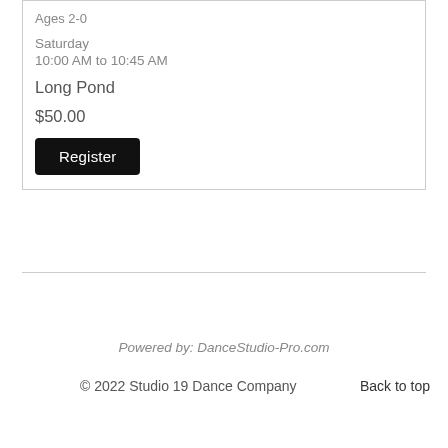Ages 2-0
Saturday
10:00 AM to 10:45 AM
Long Pond
$50.00
Register
Powered by: DanceStudio-Pro.com
© 2022 Studio 19 Dance Company    Back to top